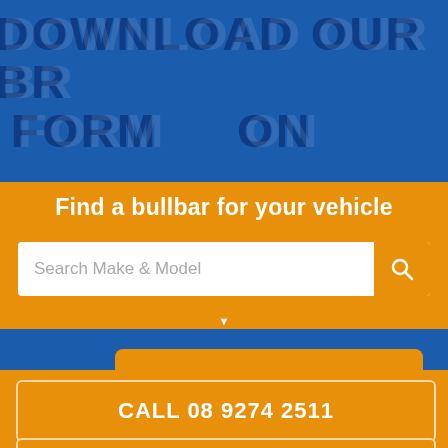[Figure (screenshot): Blue background banner with large overlaid text reading DOWNLOAD OUR BROCHURE]
Find a bullbar for your vehicle
Search Make & Model
GET INFO PACK
CALL 08 9274 2511